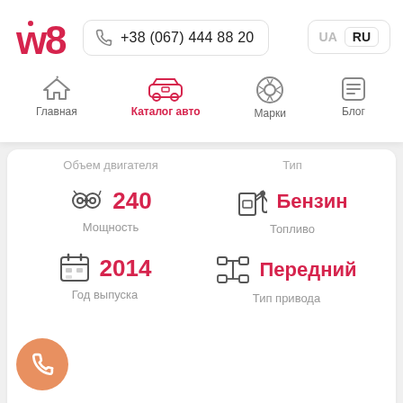w8 | +38 (067) 444 88 20 | UA | RU
[Figure (screenshot): Navigation bar with icons: Главная (home icon), Каталог авто (car icon, active/red), Марки (VW icon), Блог (menu icon)]
Объем двигателя
Тип
240
Мощность
Бензин
Топливо
2014
Год выпуска
Передний
Тип привода